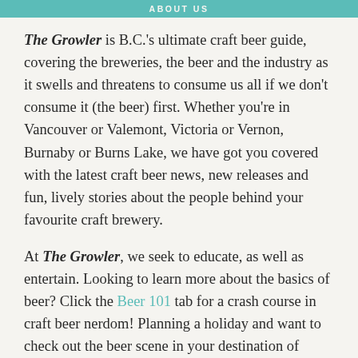ABOUT US
The Growler is B.C.'s ultimate craft beer guide, covering the breweries, the beer and the industry as it swells and threatens to consume us all if we don't consume it (the beer) first. Whether you're in Vancouver or Valemont, Victoria or Vernon, Burnaby or Burns Lake, we have got you covered with the latest craft beer news, new releases and fun, lively stories about the people behind your favourite craft brewery.
At The Growler, we seek to educate, as well as entertain. Looking to learn more about the basics of beer? Click the Beer 101 tab for a crash course in craft beer nerdom! Planning a holiday and want to check out the beer scene in your destination of choice? Check out our many Travel stories for the inside scoop! Looking for the perfect dish to pair with your beer (or vice versa)? We've got tons of